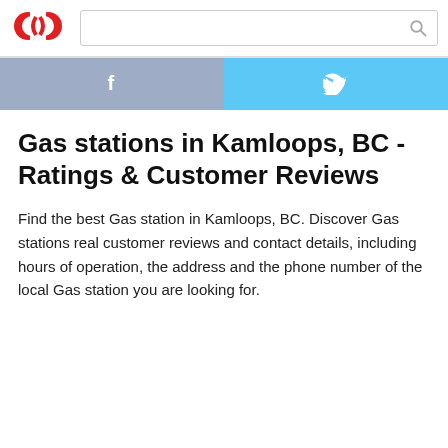[Figure (logo): Red circular logo with two overlapping C shapes]
Gas stations in Kamloops, BC - Ratings & Customer Reviews
Find the best Gas station in Kamloops, BC. Discover Gas stations real customer reviews and contact details, including hours of operation, the address and the phone number of the local Gas station you are looking for.